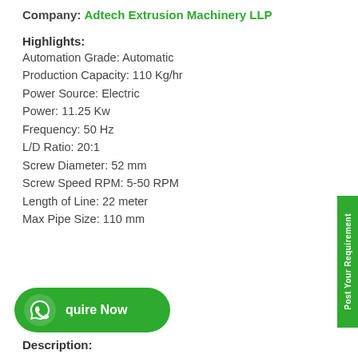Company: Adtech Extrusion Machinery LLP
Highlights:
Automation Grade: Automatic
Production Capacity: 110 Kg/hr
Power Source: Electric
Power: 11.25 Kw
Frequency: 50 Hz
L/D Ratio: 20:1
Screw Diameter: 52 mm
Screw Speed RPM: 5-50 RPM
Length of Line: 22 meter
Max Pipe Size: 110 mm
[Figure (other): WhatsApp Inquire Now button with green rounded pill shape and WhatsApp icon]
Description: